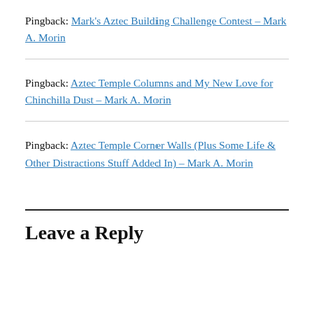Pingback: Mark's Aztec Building Challenge Contest – Mark A. Morin
Pingback: Aztec Temple Columns and My New Love for Chinchilla Dust – Mark A. Morin
Pingback: Aztec Temple Corner Walls (Plus Some Life & Other Distractions Stuff Added In) – Mark A. Morin
Leave a Reply